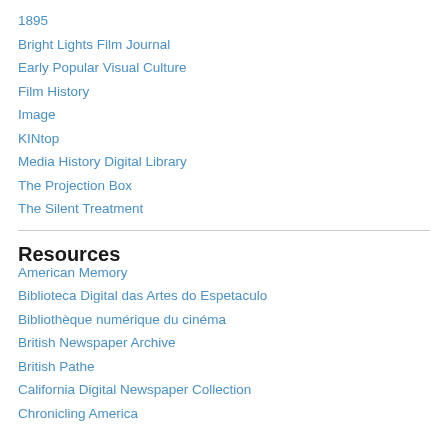1895
Bright Lights Film Journal
Early Popular Visual Culture
Film History
Image
KINtop
Media History Digital Library
The Projection Box
The Silent Treatment
Resources
American Memory
Biblioteca Digital das Artes do Espetaculo
Bibliothèque numérique du cinéma
British Newspaper Archive
British Pathe
California Digital Newspaper Collection
Chronicling America